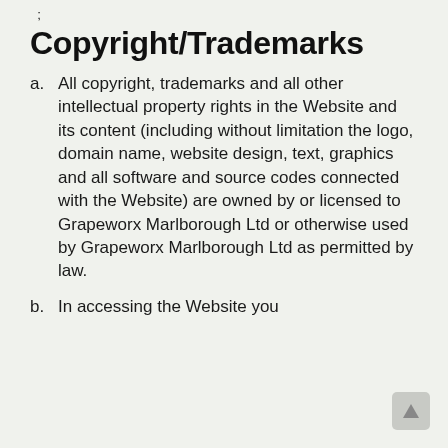Copyright/Trademarks
a. All copyright, trademarks and all other intellectual property rights in the Website and its content (including without limitation the logo, domain name, website design, text, graphics and all software and source codes connected with the Website) are owned by or licensed to Grapeworx Marlborough Ltd or otherwise used by Grapeworx Marlborough Ltd as permitted by law.
b. In accessing the Website you